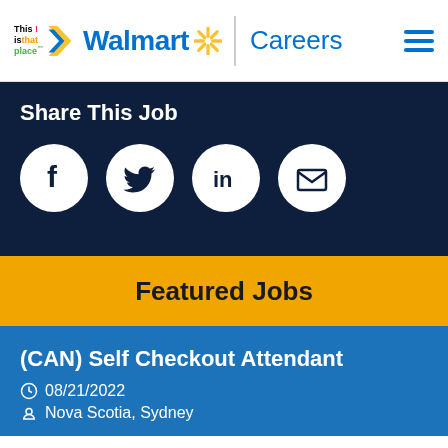[Figure (logo): Walmart Careers logo with 'This is that place' tagline, Walmart spark star, and Careers text]
Share This Job
[Figure (infographic): Social share icons: Facebook, Twitter, LinkedIn, Email]
Featured Jobs
(CAN) Self Checkout Attendant
08/21/2022
Nova Scotia, Sydney